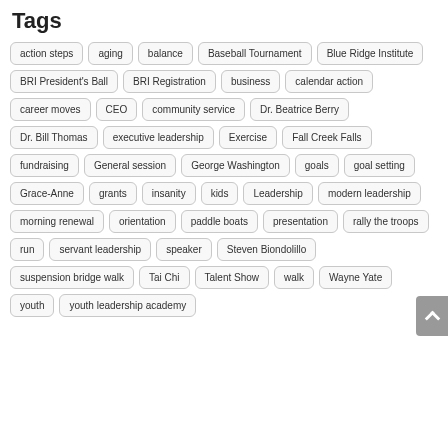Tags
action steps
aging
balance
Baseball Tournament
Blue Ridge Institute
BRI President's Ball
BRI Registration
business
calendar action
career moves
CEO
community service
Dr. Beatrice Berry
Dr. Bill Thomas
executive leadership
Exercise
Fall Creek Falls
fundraising
General session
George Washington
goals
goal setting
Grace-Anne
grants
insanity
kids
Leadership
modern leadership
morning renewal
orientation
paddle boats
presentation
rally the troops
run
servant leadership
speaker
Steven Biondolillo
suspension bridge walk
Tai Chi
Talent Show
walk
Wayne Yate
youth
youth leadership academy